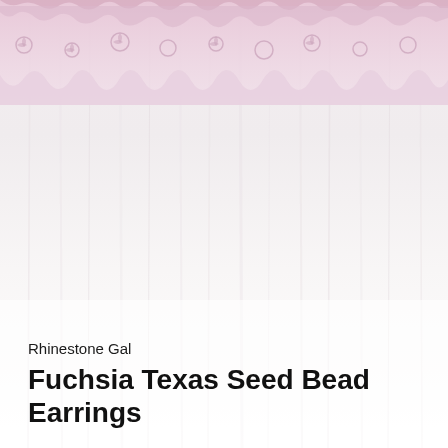[Figure (photo): Background image with pink lace trim at the top and a whitewashed wood grain texture below, fading from light pink/white at top to pure white at bottom.]
Rhinestone Gal
Fuchsia Texas Seed Bead Earrings